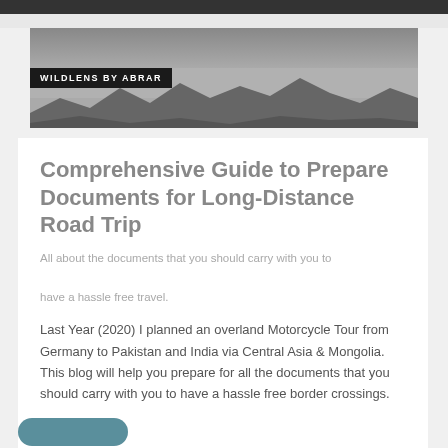[Figure (photo): Top dark banner/photo strip]
[Figure (photo): Landscape banner photo with mountain silhouette in grayscale]
WILDLENS BY ABRAR
Comprehensive Guide to Prepare Documents for Long-Distance Road Trip
All about the documents that you should carry with you to have a hassle free travel.
Last Year (2020) I planned an overland Motorcycle Tour from Germany to Pakistan and India via Central Asia & Mongolia. This blog will help you prepare for all the documents that you should carry with you to have a hassle free border crossings.